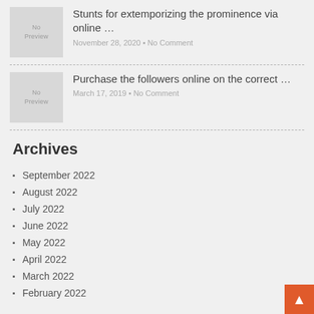[Figure (other): No Preview thumbnail placeholder for blog post]
Stunts for extemporizing the prominence via online …
November 28, 2020 • No Comment
[Figure (other): No Preview thumbnail placeholder for blog post]
Purchase the followers online on the correct …
March 17, 2019 • No Comment
Archives
September 2022
August 2022
July 2022
June 2022
May 2022
April 2022
March 2022
February 2022